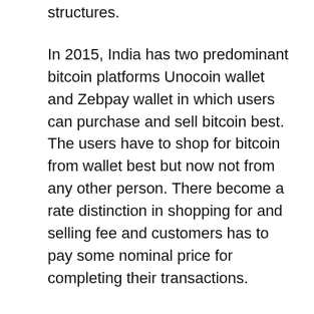structures.
In 2015, India has two predominant bitcoin platforms Unocoin wallet and Zebpay wallet in which users can purchase and sell bitcoin best. The users have to shop for bitcoin from wallet best but now not from any other person. There become a rate distinction in shopping for and selling fee and customers has to pay some nominal price for completing their transactions.
In 2017, Cryptocurrency enterprise grew surprisingly and the charge of Bitcoin grown spontaneously, mainly in ultimate six months of 2017 which forced users to search for alternatives of Bitcoin and crossed 14 lakhs inside the Indian market.